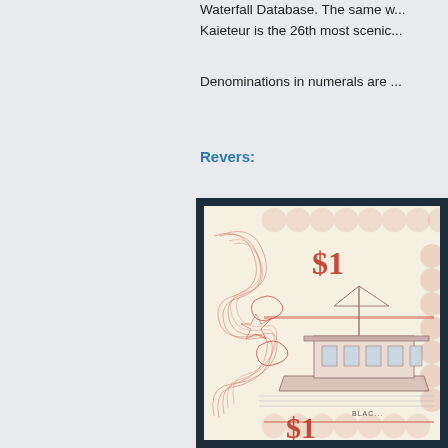Waterfall Database. The same w... Kaieteur is the 26th most scenic...
Denominations in numerals are ...
Revers:
[Figure (photo): Reverse side of a banknote featuring '$1' denomination markings in red, decorative guilloche patterns, and an engraved image of what appears to be a boat or vessel labeled 'BLAC...' at the bottom.]